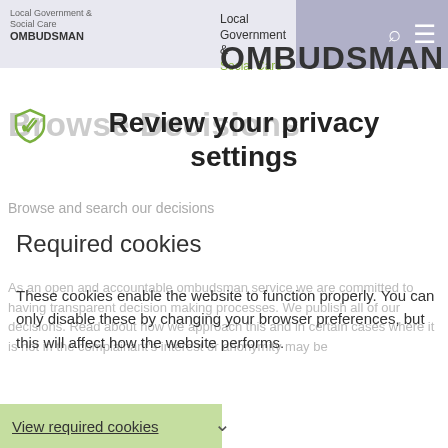Local Government & Social Care OMBUDSMAN
Browse Decisions
Review your privacy settings
Browse and search our decisions
Required cookies
These cookies enable the website to function properly. You can only disable these by changing your browser preferences, but this will affect how the website performs.
View required cookies